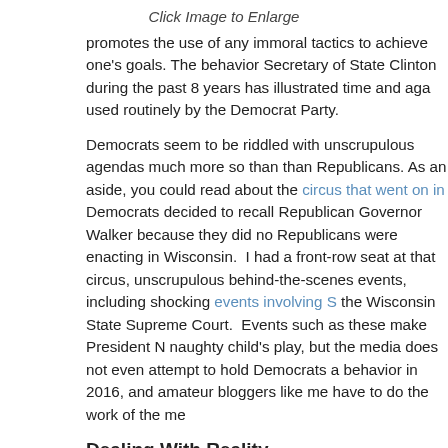Click Image to Enlarge
promotes the use of any immoral tactics to achieve one’s goals. The behavior Secretary of State Clinton during the past 8 years has illustrated time and again, used routinely by the Democrat Party.
Democrats seem to be riddled with unscrupulous agendas much more so than than Republicans. As an aside, you could read about the circus that went on in Democrats decided to recall Republican Governor Walker because they did not Republicans were enacting in Wisconsin. I had a front-row seat at that circus, unscrupulous behind-the-scenes events, including shocking events involving S the Wisconsin State Supreme Court. Events such as these make President N naughty child’s play, but the media does not even attempt to hold Democrats a behavior in 2016, and amateur bloggers like me have to do the work of the me
Dealing With Reality
So reality dictates today that we have to deal with individuals who present themselves to a political party for nomination, while disagreeing with a major portion of that party’s
[Figure (illustration): Cartoon illustration of a person with angel wings, wearing a blue outfit, with blonde hair, facing right, holding something, drawn in a comic style with bold outlines and flat colors.]